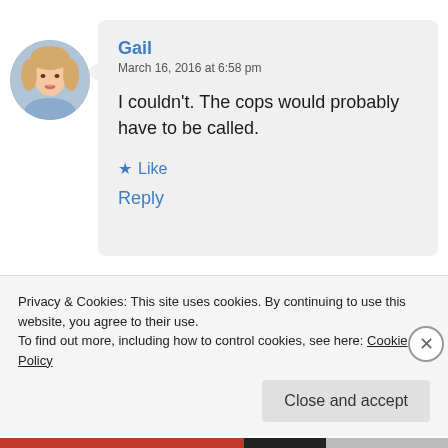[Figure (photo): Circular avatar photo of a woman with blonde hair]
Gail
March 16, 2016 at 6:58 pm
I couldn't. The cops would probably have to be called.
★ Like
Reply
[Figure (photo): Row of three circular avatar photos of people and a blue plus button]
Privacy & Cookies: This site uses cookies. By continuing to use this website, you agree to their use.
To find out more, including how to control cookies, see here: Cookie Policy
Close and accept